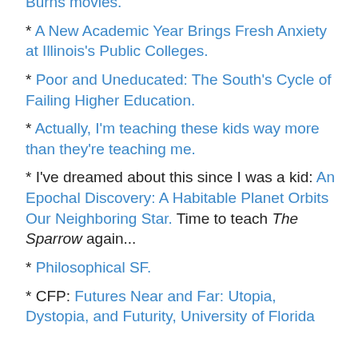Burns movies.
* A New Academic Year Brings Fresh Anxiety at Illinois's Public Colleges.
* Poor and Uneducated: The South's Cycle of Failing Higher Education.
* Actually, I'm teaching these kids way more than they're teaching me.
* I've dreamed about this since I was a kid: An Epochal Discovery: A Habitable Planet Orbits Our Neighboring Star. Time to teach The Sparrow again...
* Philosophical SF.
* CFP: Futures Near and Far: Utopia, Dystopia, and Futurity, University of Florida